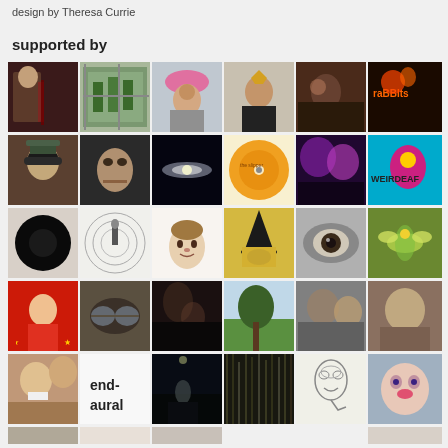design by Theresa Currie
supported by
[Figure (photo): Grid of user profile photos and album/artwork thumbnails, 5 rows of 6 images each, showing various people, illustrations, and album art]
end-aural